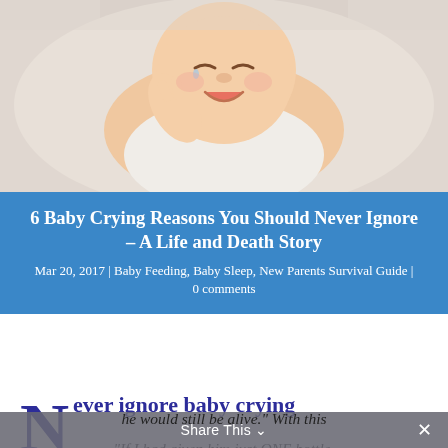[Figure (photo): Close-up photo of a crying baby lying on its back, one hand raised, wearing a white onesie, with a blurred white background.]
6 Baby Crying Reasons You Should Never Ignore – A Life and Death Story
Mar 20, 2017 | Baby Feeding, Baby Sleep, New Parents Survival Guide | 0 comments
Never ignore baby crying
“If I had given him just ONE bottle, he would still be alive.” With this